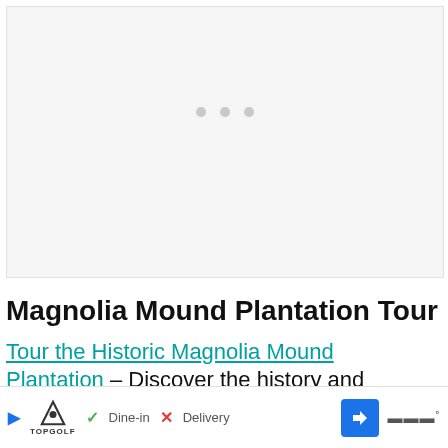[Figure (photo): Loading placeholder with three gray dots centered on a light gray background, representing an image that has not yet loaded.]
Magnolia Mound Plantation Tour
Tour the Historic Magnolia Mound Plantation – Discover the history and a…
[Figure (infographic): Advertisement bar at the bottom showing: a blue play button, TopGolf logo, a checkmark with 'Dine-in', an X with 'Delivery', a blue navigation arrow icon, and a menu icon.]